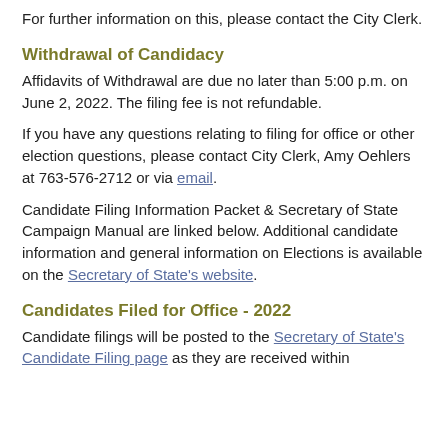For further information on this, please contact the City Clerk.
Withdrawal of Candidacy
Affidavits of Withdrawal are due no later than 5:00 p.m. on June 2, 2022.  The filing fee is not refundable.
If you have any questions relating to filing for office or other election questions, please contact City Clerk, Amy Oehlers at 763-576-2712 or via email.
Candidate Filing Information Packet & Secretary of State Campaign Manual are linked below.  Additional candidate information and general information on Elections is available on the Secretary of State's website.
Candidates Filed for Office - 2022
Candidate filings will be posted to the Secretary of State's Candidate Filing page as they are received within